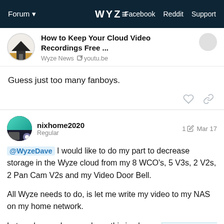Forum | WYZE | Facebook Reddit Support
How to Keep Your Cloud Video Recordings Free ...
Wyze News  youtu.be
Guess just too many fanboys.
nixhome2020
Regular
1  Mar 17
@WyzeDave I would like to do my part to decrease storage in the Wyze cloud from my 8 WCO's, 5 V3s, 2 V2s, 2 Pan Cam V2s and my Video Door Bell.
All Wyze needs to do, is let me write my video to my NAS on my home network.
Let me know when you have this implemen the load (and cost) of storing my data in th
6/119